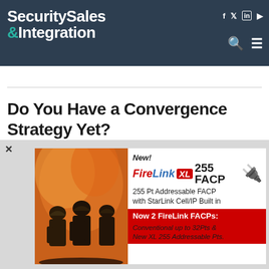Security Sales & Integration
★ Content from our Sponsor
Do You Have a Convergence Strategy Yet?
August 31, 2007   SSI Staff
Users Answer How Far Traveled Is the Road to
[Figure (screenshot): FireLink XL 255 FACP advertisement banner with firefighters image on left and product details on right. Text reads: New! FireLink XL 255 FACP, 255 Pt Addressable FACP with StarLink Cell/IP Built in, Now 2 FireLink FACPs: Conventional up to 32Pts & New XL 255 Addressable Pts.]